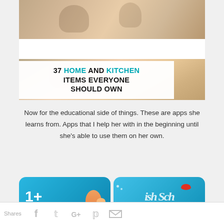[Figure (photo): Hero image showing a mother and child cooking or doing kitchen activities together, with a white overlay strip in the middle]
37 HOME AND KITCHEN ITEMS EVERYONE SHOULD OWN
Now for the educational side of things. These are apps she learns from. Apps that I help her with in the beginning until she's able to use them on her own.
[Figure (screenshot): Two app icons side by side: left is a blue app with '1+' text and a cartoon fish, right is a 'Fish School' app with blue underwater theme and a red fish logo. A 'CLOSE' button overlays the right icon.]
Shares  f  t  G+  p  ✉